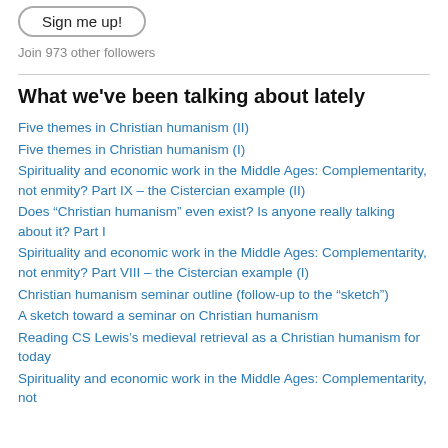[Figure (other): Sign me up! button with rounded rectangle border]
Join 973 other followers
What we've been talking about lately
Five themes in Christian humanism (II)
Five themes in Christian humanism (I)
Spirituality and economic work in the Middle Ages: Complementarity, not enmity? Part IX – the Cistercian example (II)
Does “Christian humanism” even exist? Is anyone really talking about it? Part I
Spirituality and economic work in the Middle Ages: Complementarity, not enmity? Part VIII – the Cistercian example (I)
Christian humanism seminar outline (follow-up to the “sketch”)
A sketch toward a seminar on Christian humanism
Reading CS Lewis’s medieval retrieval as a Christian humanism for today
Spirituality and economic work in the Middle Ages: Complementarity, not